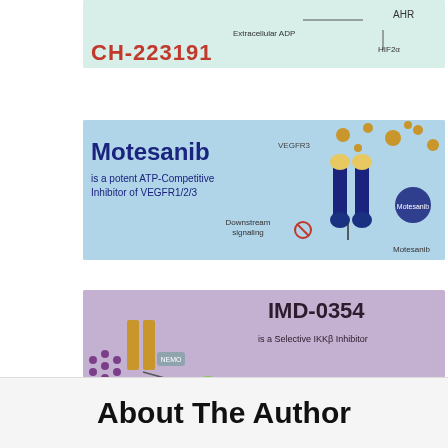[Figure (illustration): Partial top image showing CH-223191 compound with AHR, HIF2α, and Extracellular ADP labels in a signaling pathway diagram]
[Figure (illustration): Motesanib signaling diagram showing VEGFR3 receptor, downstream signaling pathway, with text 'Motesanib is a potent ATP-Competitive Inhibitor of VEGFR1/2/3']
[Figure (illustration): IMD-0354 IKKβ inhibitor signaling diagram showing IKK-α, IKK-β complex, IκB-β pathway, with text 'IMD-0354 is a Selective IKKβ Inhibitor']
About The Author